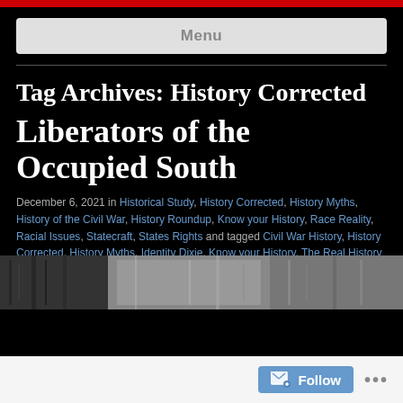Menu
Tag Archives: History Corrected
Liberators of the Occupied South
December 6, 2021 in Historical Study, History Corrected, History Myths, History of the Civil War, History Roundup, Know your History, Race Reality, Racial Issues, Statecraft, States Rights and tagged Civil War History, History Corrected, History Myths, Identity Dixie, Know your History, The Real History of the Klan
[Figure (photo): Partial black and white historical photograph visible at the bottom of the page]
Follow ...